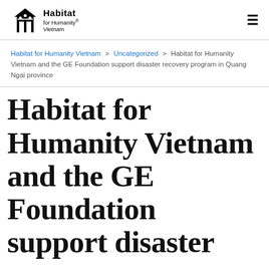Habitat for Humanity Vietnam
Habitat for Humanity Vietnam > Uncategorized > Habitat for Humanity Vietnam and the GE Foundation support disaster recovery program in Quang Ngai province
Habitat for Humanity Vietnam and the GE Foundation support disaster recovery program in Quang Ngai province